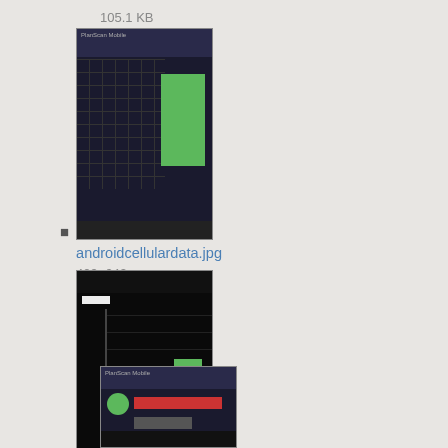105.1 KB
[Figure (screenshot): Thumbnail of androidcellulardata.jpg showing a mobile app screen with a green bar chart on dark background]
androidcellulardata.jpg
409×642
2013/07/30 22:52
45.7 KB
[Figure (screenshot): Thumbnail of androidcellulardata.png showing a dark mobile app screen with a green vertical bar on a graph]
androidcellulardata.png
1200×1920
2014/09/30 22:43
78.3 KB
[Figure (screenshot): Partial thumbnail of another androidcellulardata file showing a mobile app screen with a green circle and red bar]